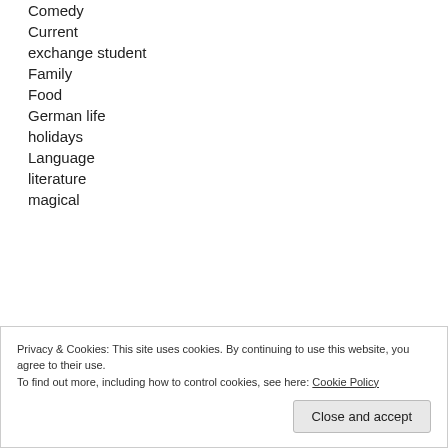Comedy
Current
exchange student
Family
Food
German life
holidays
Language
literature
magical
Privacy & Cookies: This site uses cookies. By continuing to use this website, you agree to their use.
To find out more, including how to control cookies, see here: Cookie Policy
Close and accept